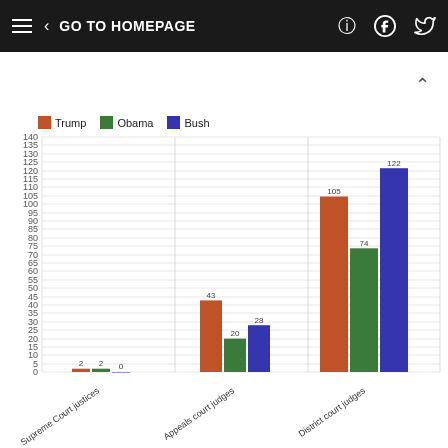≡ < GO TO HOMEPAGE
[Figure (grouped-bar-chart): Judicial appointments by president]